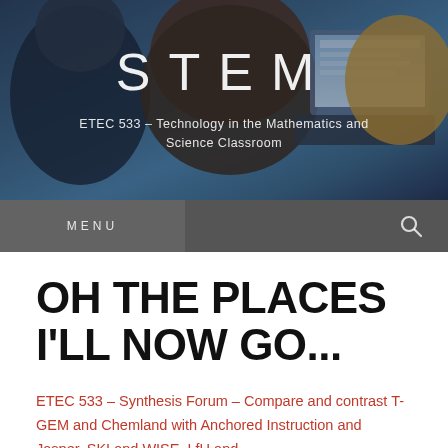[Figure (photo): Header photo showing students working with laptops in a classroom, with overlaid STEM website branding]
STEM
ETEC 533 – Technology in the Mathematics and Science Classroom
MENU
OH THE PLACES I'LL NOW GO...
ETEC 533 – Synthesis Forum – Compare and contrast T-GEM and Chemland with Anchored Instruction and Jasper, SKI and WISE, LfU and